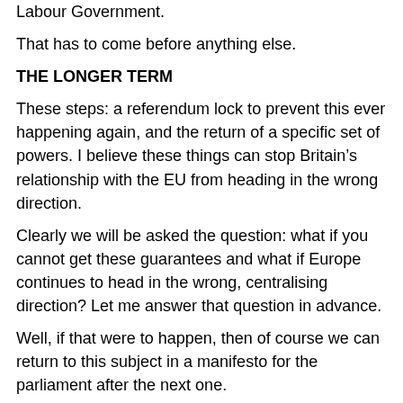Labour Government.
That has to come before anything else.
THE LONGER TERM
These steps: a referendum lock to prevent this ever happening again, and the return of a specific set of powers. I believe these things can stop Britain’s relationship with the EU from heading in the wrong direction.
Clearly we will be asked the question: what if you cannot get these guarantees and what if Europe continues to head in the wrong, centralising direction? Let me answer that question in advance.
Well, if that were to happen, then of course we can return to this subject in a manifesto for the parliament after the next one.
Let me be clear: this is not something we want to happen. Nor is it something we expect to happen.